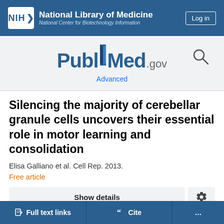NIH National Library of Medicine, National Center for Biotechnology Information, Log in
[Figure (logo): PubMed.gov logo with search icon and Advanced link]
Silencing the majority of cerebellar granule cells uncovers their essential role in motor learning and consolidation
Elisa Galliano et al. Cell Rep. 2013.
Free article
Show details
Full text links
Cite